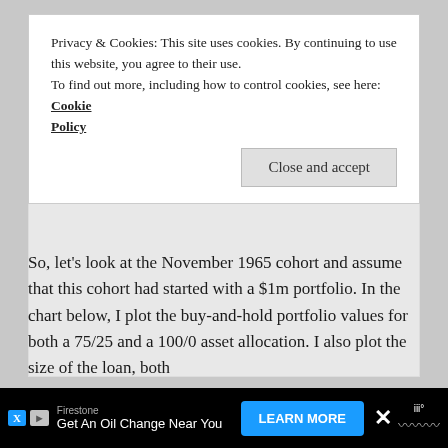Privacy & Cookies: This site uses cookies. By continuing to use this website, you agree to their use.
To find out more, including how to control cookies, see here: Cookie Policy
[Figure (other): Close and accept button for cookie consent banner]
[Figure (other): Gray advertisement placeholder area]
So, let's look at the November 1965 cohort and assume that this cohort had started with a $1m portfolio. In the chart below, I plot the buy-and-hold portfolio values for both a 75/25 and a 100/0 asset allocation. I also plot the size of the loan, both fo... To... icial...
[Figure (other): Advertisement bar: Firestone - Get An Oil Change Near You - LEARN MORE button]